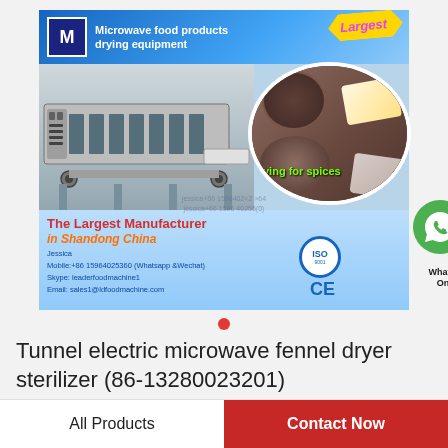[Figure (photo): Advertisement image for microwave food products drying equipment showing a tunnel conveyor machine and spices. Text includes 'The Largest Manufacturer in Shandong China', contact info: Jessica, Mobile: +86 15964025360 (Whatsapp & Wechat), Skype: leaderfoodmachine1, Email: sales1@ldfoodmachine.com. ISO 9001, CE marks. WhatsApp Online. 'Largest' badge and 'drying for spices' overlay.]
Tunnel electric microwave fennel dryer sterilizer (86-13280023201)
All Products
Contact Now